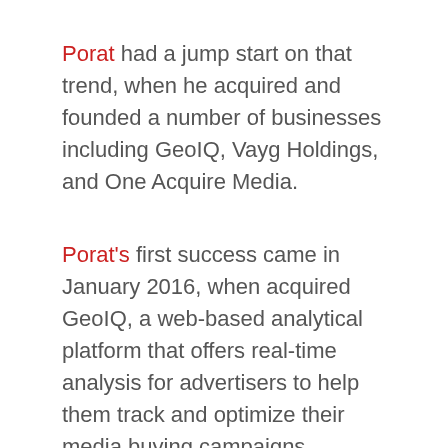Porat had a jump start on that trend, when he acquired and founded a number of businesses including GeoIQ, Vayg Holdings, and One Acquire Media.
Porat's first success came in January 2016, when acquired GeoIQ, a web-based analytical platform that offers real-time analysis for advertisers to help them track and optimize their media buying campaigns.
Three years later, in 2019, he founded Vayg Holdings, LLC, of Brooklyn, New York. The company's first product was Vayg Media, a